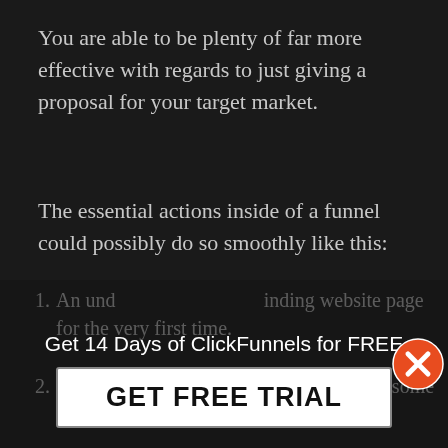You are able to be plenty of far more effective with regards to just giving a proposal for your target market.
The essential actions inside of a funnel could possibly do so smoothly like this:
An under… landing website page for the very first time.
You provide some thing cost-free to offer some benefit and to gather his e-mail.
just after receiving his e mail you could supply him a pertinent offer you.
This guide will become your consumer.
Get 14 Days of ClickFunnels for FREE
[Figure (other): A popup overlay with a 'Get 14 Days of ClickFunnels for FREE' message and a 'GET FREE TRIAL' button, with an orange X close button in the top-right corner.]